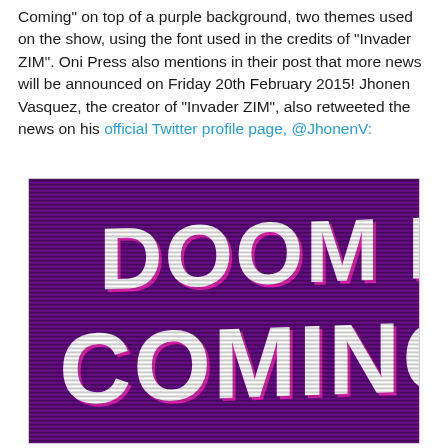Coming" on top of a purple background, two themes used on the show, using the font used in the credits of "Invader ZIM". Oni Press also mentions in their post that more news will be announced on Friday 20th February 2015! Jhonen Vasquez, the creator of "Invader ZIM", also retweeted the news on his official Twitter profile page, @JhonenV:
[Figure (photo): Purple background image with horizontal dark scanlines, displaying the text 'DOOM IS COMING' in large white stylized/horror font with pink shadow offset, in the style of the Invader ZIM credits font.]